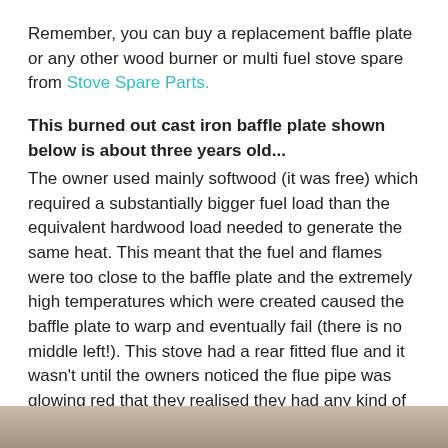Remember, you can buy a replacement baffle plate or any other wood burner or multi fuel stove spare from Stove Spare Parts.
This burned out cast iron baffle plate shown below is about three years old...
The owner used mainly softwood (it was free) which required a substantially bigger fuel load than the equivalent hardwood load needed to generate the same heat. This meant that the fuel and flames were too close to the baffle plate and the extremely high temperatures which were created caused the baffle plate to warp and eventually fail (there is no middle left!). This stove had a rear fitted flue and it wasn't until the owners noticed the flue pipe was glowing red that they realised they had any kind of problem.
[Figure (photo): Bottom strip showing a partially visible photo of a burned out cast iron baffle plate]